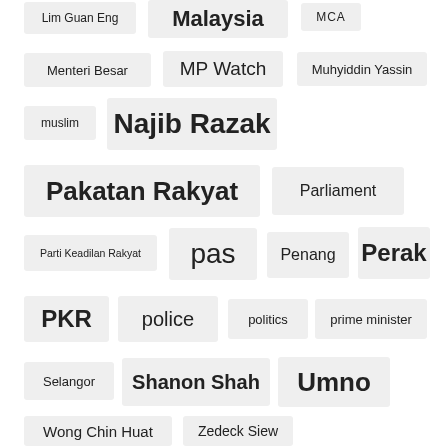[Figure (infographic): Tag cloud of Malaysian political topics and figures, including Lim Guan Eng, Malaysia, MCA, Menteri Besar, MP Watch, Muhyiddin Yassin, muslim, Najib Razak, Pakatan Rakyat, Parliament, Parti Keadilan Rakyat, pas, Penang, Perak, PKR, police, politics, prime minister, Selangor, Shanon Shah, Umno, Wong Chin Huat, Zedeck Siew]